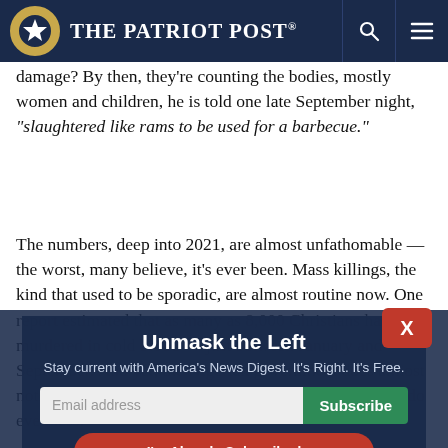The Patriot Post
damage? By then, they're counting the bodies, mostly women and children, he is told one late September night, "slaughtered like rams to be used for a barbecue."
The numbers, deep into 2021, are almost unfathomable — the worst, many believe, it's ever been. Mass killings, the kind that used to be sporadic, are almost routine now. One report estimated that as many as 8,000 Christians had been murdered in cold blood — just between January and September. And yet, the Nigerian government does almost nothing — and the Biden administration has decided to do even less.
[Figure (screenshot): Email subscription modal overlay with title 'Unmask the Left', subtitle 'Stay current with America's News Digest. It's Right. It's Free.', email input field, Subscribe button, and 'I'm Already Subscribed' button. Has a red X close button.]
That fact was driven home in a painful fashion this week, when, in a move that rocked the international